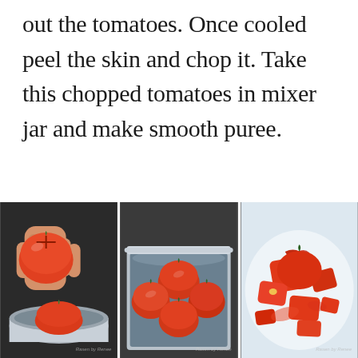out the tomatoes. Once cooled peel the skin and chop it. Take this chopped tomatoes in mixer jar and make smooth puree.
[Figure (photo): A hand holding a tomato with a cross-cut on top, poised over a silver steel bowl; another tomato visible in the bowl below. A watermark in the bottom right corner.]
[Figure (photo): Several whole red tomatoes submerged in water inside a large silver steel pot. A watermark in the bottom right corner.]
[Figure (photo): Peeled and chopped tomatoes with skins removed, spread on a white plate or surface. A watermark in the bottom right corner.]